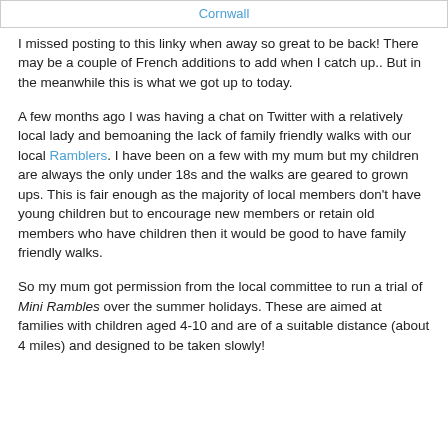Cornwall
I missed posting to this linky when away so great to be back! There may be a couple of French additions to add when I catch up.. But in the meanwhile this is what we got up to today.
A few months ago I was having a chat on Twitter with a relatively local lady and bemoaning the lack of family friendly walks with our local Ramblers. I have been on a few with my mum but my children are always the only under 18s and the walks are geared to grown ups. This is fair enough as the majority of local members don't have young children but to encourage new members or retain old members who have children then it would be good to have family friendly walks.
So my mum got permission from the local committee to run a trial of Mini Rambles over the summer holidays. These are aimed at families with children aged 4-10 and are of a suitable distance (about 4 miles) and designed to be taken slowly!